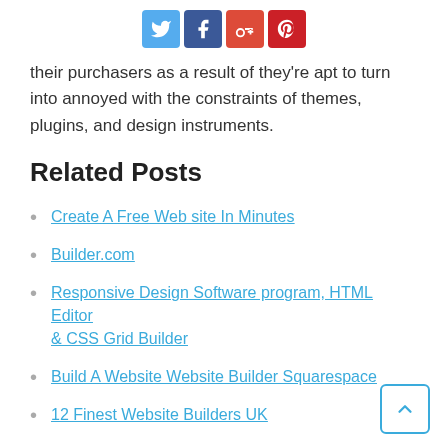[Figure (other): Social sharing icons: Twitter (blue), Facebook (dark blue), Google+ (red), Pinterest (dark red)]
their purchasers as a result of they're apt to turn into annoyed with the constraints of themes, plugins, and design instruments.
Related Posts
Create A Free Web site In Minutes
Builder.com
Responsive Design Software program, HTML Editor & CSS Grid Builder
Build A Website Website Builder Squarespace
12 Finest Website Builders UK